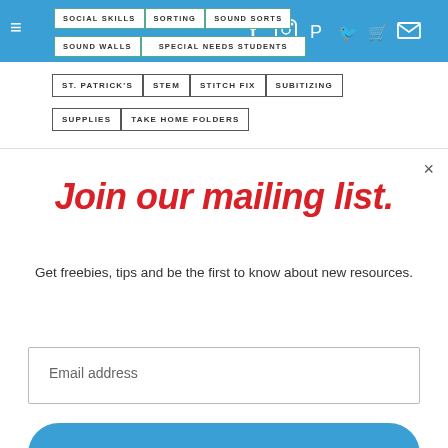Navigation bar with hamburger menu and social icons: Facebook, Instagram, Pinterest, Twitter, Cart, Email
SOCIAL SKILLS
SORTING
SOUND SORTS
SOUND WALLS
SPECIAL NEEDS STUDENTS
ST. PATRICK'S
STEM
STITCH FIX
SUBITIZING
SUPPLIES
TAKE HOME FOLDERS
Join our mailing list.
Get freebies, tips and be the first to know about new resources.
Email address
Subscribe